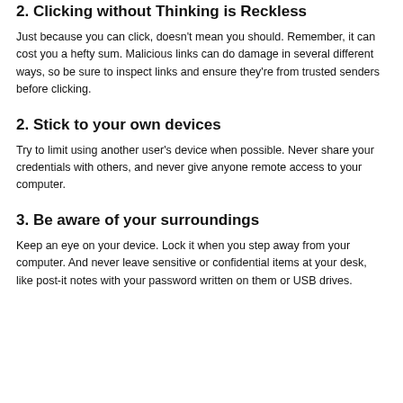2. Clicking without Thinking is Reckless
Just because you can click, doesn't mean you should. Remember, it can cost you a hefty sum. Malicious links can do damage in several different ways, so be sure to inspect links and ensure they're from trusted senders before clicking.
2. Stick to your own devices
Try to limit using another user's device when possible. Never share your credentials with others, and never give anyone remote access to your computer.
3. Be aware of your surroundings
Keep an eye on your device. Lock it when you step away from your computer. And never leave sensitive or confidential items at your desk, like post-it notes with your password written on them or USB drives.